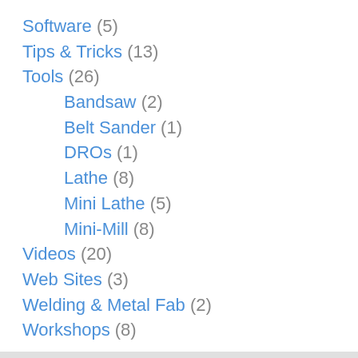Software (5)
Tips & Tricks (13)
Tools (26)
Bandsaw (2)
Belt Sander (1)
DROs (1)
Lathe (8)
Mini Lathe (5)
Mini-Mill (8)
Videos (20)
Web Sites (3)
Welding & Metal Fab (2)
Workshops (8)